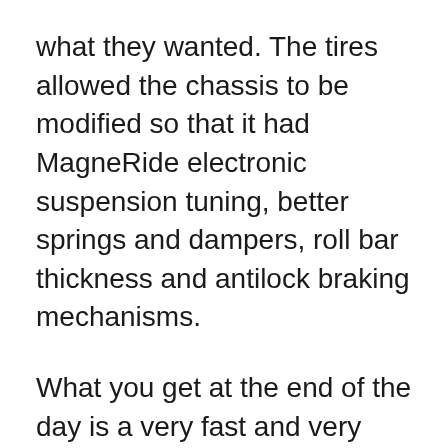what they wanted. The tires allowed the chassis to be modified so that it had MagneRide electronic suspension tuning, better springs and dampers, roll bar thickness and antilock braking mechanisms.
What you get at the end of the day is a very fast and very easy to ride Mustang like no other. The GT350 has a 526 horsepower, flat-plane-crank v-8 engine that is 5.2 liter. More powerful that any American car. It snarls when you step on it. With an extra 66 horsepower make the revving something else. The tone changes and it's a most amazing sound. The